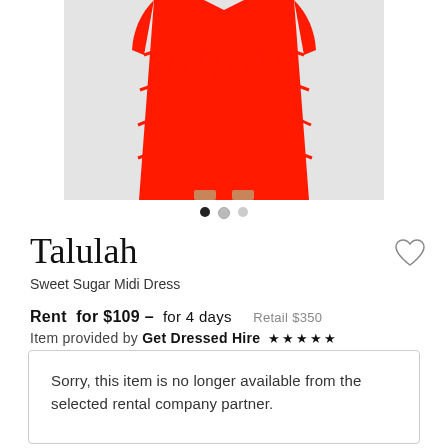[Figure (photo): Red pleated/fringed midi dress on a light grey background, showing from waist down]
Talulah
Sweet Sugar Midi Dress
Rent for $109 – for 4 days   Retail $350
Item provided by Get Dressed Hire ★★★★★
Postage: $20.00
Sorry, this item is no longer available from the selected rental company partner.